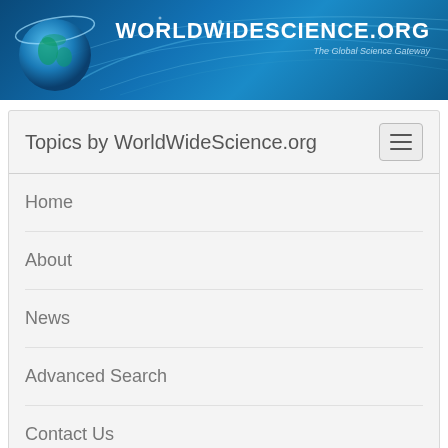[Figure (screenshot): WorldWideScience.org website header banner with globe graphic, curved light lines, and site name/tagline]
Topics by WorldWideScience.org
Home
About
News
Advanced Search
Contact Us
Site Map
Help
Sample records for amorphization sputter rate